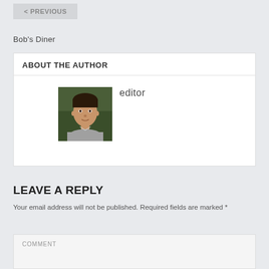< PREVIOUS
Bob's Diner
ABOUT THE AUTHOR
[Figure (photo): Portrait photo of a man (editor) outdoors with green foliage background]
LEAVE A REPLY
Your email address will not be published. Required fields are marked *
COMMENT